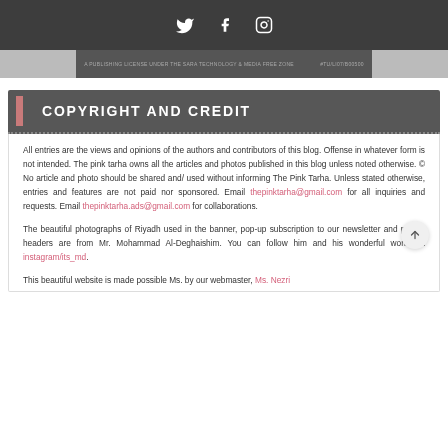Social media icons: Twitter, Facebook, Instagram
[Figure (screenshot): Banner strip with small text and hashtag]
COPYRIGHT AND CREDIT
All entries are the views and opinions of the authors and contributors of this blog. Offense in whatever form is not intended. The pink tarha owns all the articles and photos published in this blog unless noted otherwise. © No article and photo should be shared and/ used without informing The Pink Tarha. Unless stated otherwise, entries and features are not paid nor sponsored. Email thepinktarha@gmail.com for all inquiries and requests. Email thepinktarha.ads@gmail.com for collaborations.
The beautiful photographs of Riyadh used in the banner, pop-up subscription to our newsletter and pages' headers are from Mr. Mohammad Al-Deghaishim. You can follow him and his wonderful works at instagram/its_md.
This beautiful website is made possible Ms. Nezri